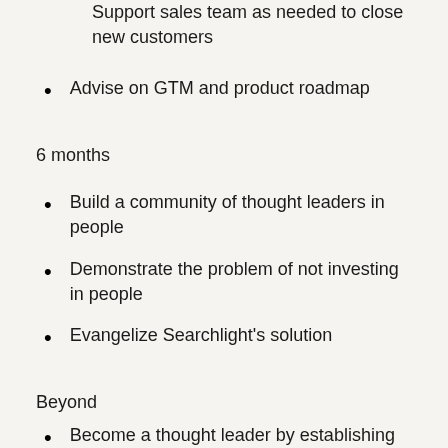Support sales team as needed to close new customers
Advise on GTM and product roadmap
6 months
Build a community of thought leaders in people
Demonstrate the problem of not investing in people
Evangelize Searchlight's solution
Beyond
Become a thought leader by establishing Searchlight as a thought leader in hiring, quality of hire, talent lifecycle, and DEI